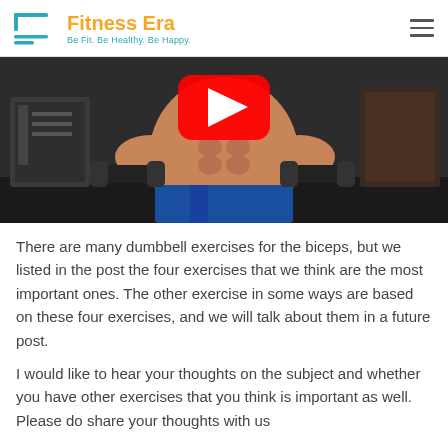Fitness Era — Be Fit. Be Healthy. Be Happy.
[Figure (photo): A shirtless muscular man holding dumbbells in a gym, with a YouTube play button overlay indicating an embedded video.]
There are many dumbbell exercises for the biceps, but we listed in the post the four exercises that we think are the most important ones. The other exercise in some ways are based on these four exercises, and we will talk about them in a future post.
I would like to hear your thoughts on the subject and whether you have other exercises that you think is important as well. Please do share your thoughts with us